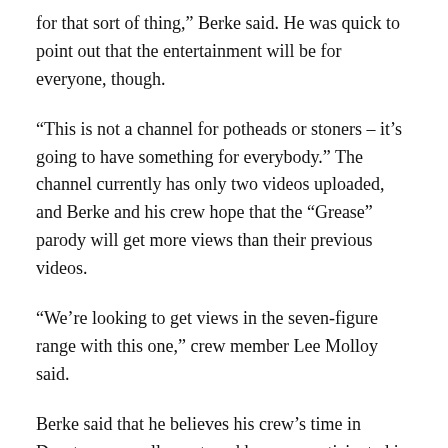for that sort of thing,” Berke said. He was quick to point out that the entertainment will be for everyone, though.
“This is not a channel for potheads or stoners – it’s going to have something for everybody.” The channel currently has only two videos uploaded, and Berke and his crew hope that the “Grease” parody will get more views than their previous videos.
“We’re looking to get views in the seven-figure range with this one,” crew member Lee Molloy said.
Berke said that he believes his crew’s time in Decatur was well-spent, and he even participated in the record-setting washer tournament on Tuesday.